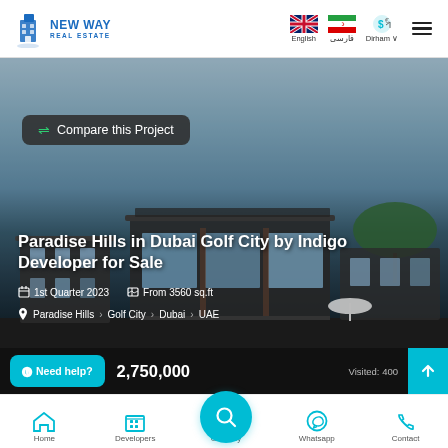[Figure (screenshot): New Way Real Estate logo - blue building icon with text]
New Way Real Estate | English | فارسی | Dirham
[Figure (photo): Hero image of Paradise Hills luxury villa/house development in Dubai Golf City, modern architecture with glass and wood elements]
⇌ Compare this Project
Paradise Hills in Dubai Golf City by Indigo Developer for Sale
📅 1st Quarter 2023   🗺 From 3560 sq.ft
📍 Paradise Hills > Golf City > Dubai > UAE
2,750,000
⓿Need help?
Visited: 400
Home | Developers | Golf City | Whatsapp | Contact